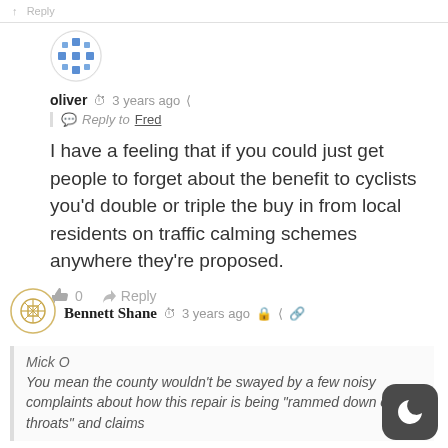Reply
[Figure (illustration): Avatar icon for user 'oliver' — blue geometric snowflake/cross pattern on white circular background]
oliver  3 years ago  | Reply to Fred
I have a feeling that if you could just get people to forget about the benefit to cyclists you'd double or triple the buy in from local residents on traffic calming schemes anywhere they're proposed.
0  Reply
[Figure (illustration): Avatar icon for user 'Bennett Shane' — gold/yellow geometric circular pattern on white background]
Bennett Shane  3 years ago
Mick O
You mean the county wouldn't be swayed by a few noisy complaints about how this repair is being "rammed down our throats" and claims